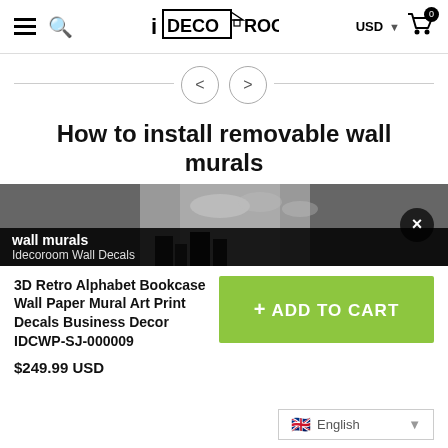iDECOROOM — USD — Cart (0)
[Figure (screenshot): Navigation arrows (left/right) with horizontal divider line]
How to install removable wall murals
[Figure (screenshot): Video thumbnail with black overlay showing tag 'wall murals' and subtitle 'Idecoroom Wall Decals', with X close button]
3D Retro Alphabet Bookcase Wall Paper Mural Art Print Decals Business Decor IDCWP-SJ-000009
$249.99 USD
+ ADD TO CART
English